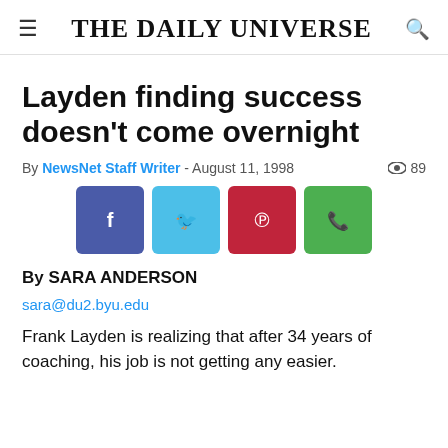The Daily Universe
Layden finding success doesn't come overnight
By NewsNet Staff Writer - August 11, 1998  89
[Figure (other): Social sharing buttons: Facebook, Twitter, Pinterest, WhatsApp]
By SARA ANDERSON
sara@du2.byu.edu
Frank Layden is realizing that after 34 years of coaching, his job is not getting any easier.